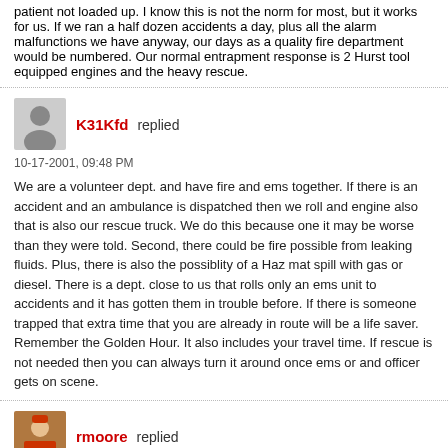patient not loaded up. I know this is not the norm for most, but it works for us. If we ran a half dozen accidents a day, plus all the alarm malfunctions we have anyway, our days as a quality fire department would be numbered. Our normal entrapment response is 2 Hurst tool equipped engines and the heavy rescue.
K31Kfd replied
10-17-2001, 09:48 PM
We are a volunteer dept. and have fire and ems together. If there is an accident and an ambulance is dispatched then we roll and engine also that is also our rescue truck. We do this because one it may be worse than they were told. Second, there could be fire possible from leaking fluids. Plus, there is also the possiblity of a Haz mat spill with gas or diesel. There is a dept. close to us that rolls only an ems unit to accidents and it has gotten them in trouble before. If there is someone trapped that extra time that you are already in route will be a life saver. Remember the Golden Hour. It also includes your travel time. If rescue is not needed then you can always turn it around once ems or and officer gets on scene.
rmoore replied
10-07-2001, 05:30 PM
A Posting from Forum Moderator Ron Moore
The second edition of my Vehicle Rescue & Extrication book is due out in